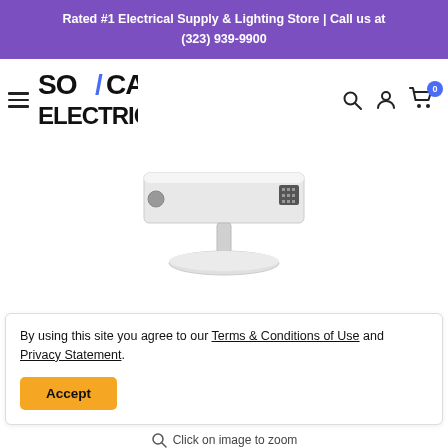Rated #1 Electrical Supply & Lighting Store | Call us at (323) 939-9900
[Figure (logo): SoCal Electric logo with lightning bolt in text]
[Figure (photo): White LED area light fixture mounted on a pole against white background]
By using this site you agree to our Terms & Conditions of Use and Privacy Statement.
Accept
Click on image to zoom